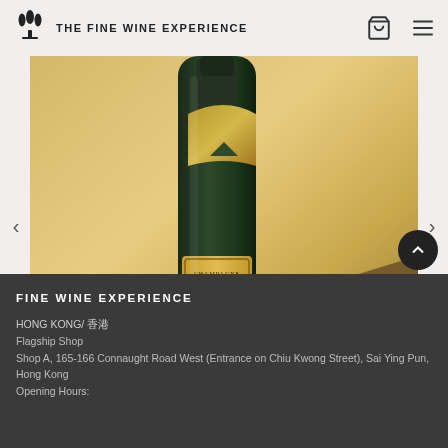THE FINE WINE EXPERIENCE
[Figure (photo): A bottle of Champagne Krug Grande Cuvée against a gold metallic background]
Champagne Krug
FINE WINE EXPERIENCE
HONG KONG/ 香港
Flagship Shop
Shop A, 165-166 Connaught Road West (Entrance on Chiu Kwong Street), Sai Ying Pun, Hong Kong
Opening Hours: